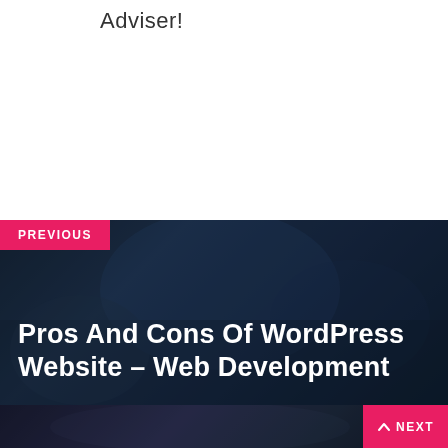Adviser!
[Figure (photo): Dark fantasy game scene with dragon and warriors, used as background for previous post navigation banner]
PREVIOUS
Pros And Cons Of WordPress Website – Web Development
[Figure (photo): Dark fantasy game scene used as background for next post navigation banner]
NEXT